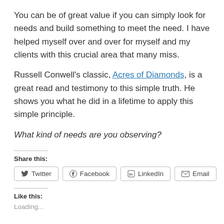You can be of great value if you can simply look for needs and build something to meet the need. I have helped myself over and over for myself and my clients with this crucial area that many miss.
Russell Conwell's classic, Acres of Diamonds, is a great read and testimony to this simple truth. He shows you what he did in a lifetime to apply this simple principle.
What kind of needs are you observing?
Share this:
Twitter | Facebook | LinkedIn | Email
Like this:
Loading...